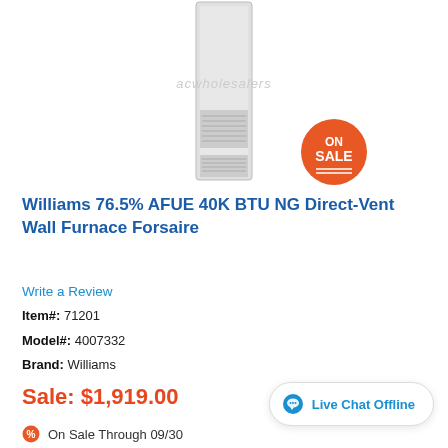[Figure (photo): Tall narrow wall furnace unit shown vertically, light gray color, with acwholesalers watermark in the background, and an orange ON SALE badge in the lower right of the image area.]
Williams 76.5% AFUE 40K BTU NG Direct-Vent Wall Furnace Forsaire
Write a Review
Item#: 71201
Model#: 4007332
Brand: Williams
Sale: $1,919.00
Live Chat Offline
On Sale Through 09/30